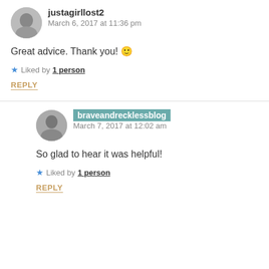justagirllost2
March 6, 2017 at 11:36 pm
Great advice. Thank you! 🙂
★ Liked by 1 person
REPLY
braveandrecklessblog
March 7, 2017 at 12:02 am
So glad to hear it was helpful!
★ Liked by 1 person
REPLY